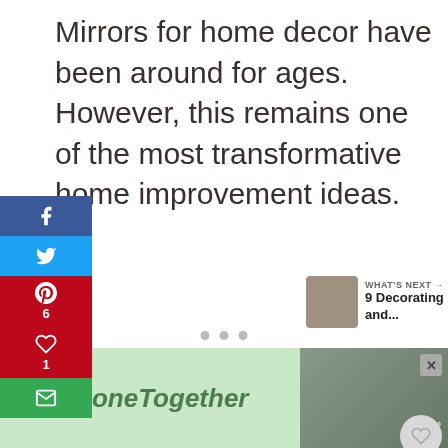Mirrors for home decor have been around for ages. However, this remains one of the most transformative home improvement ideas.
[Figure (infographic): Social media sharing sidebar with Facebook (blue), Twitter (cyan), Pinterest (red with count 6), Heart/Like (red with count 1), and Email (green) buttons stacked vertically on the left side]
6
SHARES
[Figure (infographic): What's Next widget showing a thumbnail image and text '9 Decorating and...' with WHAT'S NEXT label and arrow]
[Figure (infographic): Floating heart button showing count 7 and share button on the right side]
[Figure (infographic): Advertisement banner with #AloneTogether text on green background, a photo of people, close button X, and a logo on dark background]